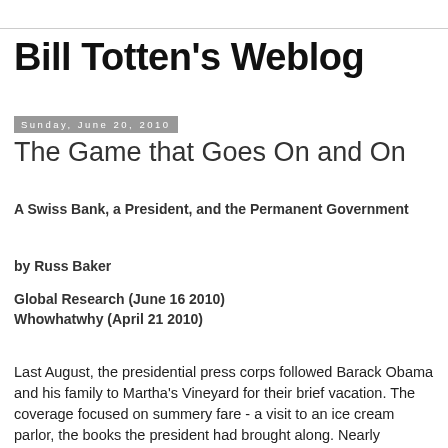Bill Totten's Weblog
Sunday, June 20, 2010
The Game that Goes On and On
A Swiss Bank, a President, and the Permanent Government
by Russ Baker
Global Research (June 16 2010)
Whowhatwhy (April 21 2010)
Last August, the presidential press corps followed Barack Obama and his family to Martha's Vineyard for their brief vacation. The coverage focused on summery fare - a visit to an ice cream parlor, the books the president had brought along. Nearly everyone mentioned his few rounds of golf.